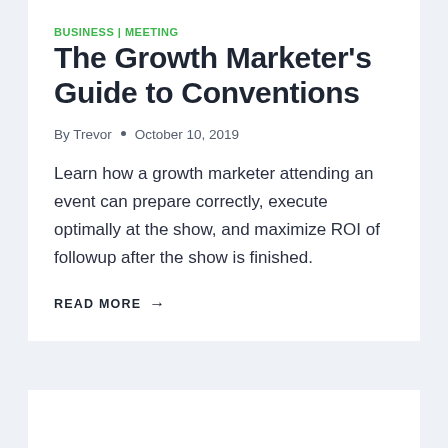BUSINESS | MEETING
The Growth Marketer’s Guide to Conventions
By Trevor • October 10, 2019
Learn how a growth marketer attending an event can prepare correctly, execute optimally at the show, and maximize ROI of followup after the show is finished.
READ MORE →